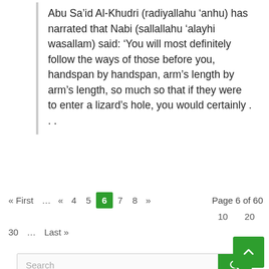Abu Sa'id Al-Khudri (radiyallahu 'anhu) has narrated that Nabi (sallallahu 'alayhi wasallam) said: 'You will most definitely follow the ways of those before you, handspan by handspan, arm's length by arm's length, so much so that if they were to enter a lizard's hole, you would certainly . . .
« First ... « 4 5 6 7 8 » Page 6 of 60
10 20
30 ... Last »
Search
QUICK MENU
Aqidah
Business & Trade